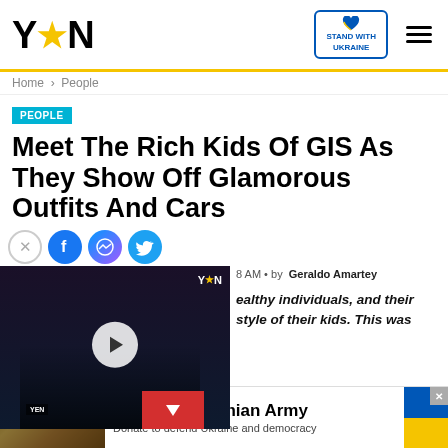YEN — STAND WITH UKRAINE
Home > People
PEOPLE
Meet The Rich Kids Of GIS As They Show Off Glamorous Outfits And Cars
[Figure (screenshot): Video thumbnail showing a woman being interviewed with YEN logo overlay, play button, and down arrow button]
8 AM • by Geraldo Amartey
ealthy individuals, and their style of their kids. This was
[Figure (infographic): Support Ukrainian Army advertisement banner with soldiers image, Ukrainian flag colors, and text: Support Ukrainian Army — Donate to defend Ukraine and democracy]